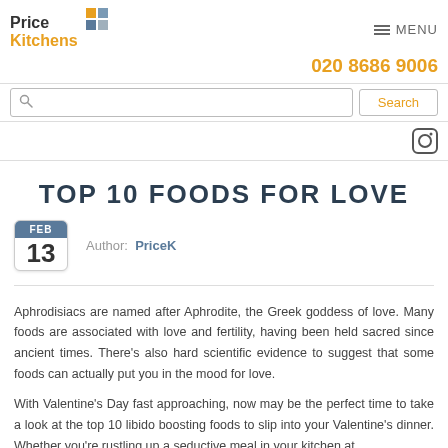Price Kitchens — MENU
020 8686 9006
TOP 10 FOODS FOR LOVE
Author: PriceK — FEB 13
Aphrodisiacs are named after Aphrodite, the Greek goddess of love. Many foods are associated with love and fertility, having been held sacred since ancient times. There's also hard scientific evidence to suggest that some foods can actually put you in the mood for love.
With Valentine's Day fast approaching, now may be the perfect time to take a look at the top 10 libido boosting foods to slip into your Valentine's dinner. Whether you're rustling up a seductive meal in your kitchen at